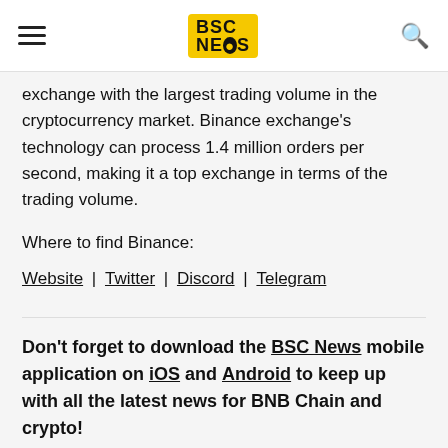BSC NEWS
exchange with the largest trading volume in the cryptocurrency market. Binance exchange's technology can process 1.4 million orders per second, making it a top exchange in terms of the trading volume.
Where to find Binance:
Website | Twitter | Discord | Telegram
Don't forget to download the BSC News mobile application on iOS and Android to keep up with all the latest news for BNB Chain and crypto!
Follow us on Twitter and Instagram!